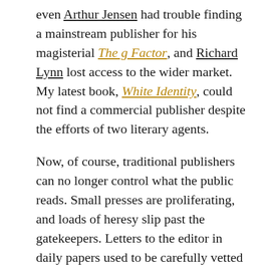even Arthur Jensen had trouble finding a mainstream publisher for his magisterial The g Factor, and Richard Lynn lost access to the wider market. My latest book, White Identity, could not find a commercial publisher despite the efforts of two literary agents.

Now, of course, traditional publishers can no longer control what the public reads. Small presses are proliferating, and loads of heresy slip past the gatekeepers. Letters to the editor in daily papers used to be carefully vetted and only an occasional dose of good sense got through. Now, many of the comments to the electronic versions of newspapers read as if they were written by AR subscribers. Articles about flash mobs or prison riots will obviously attract comments about race, but even general articles about welfare, crime, the economy, or immigration draw out readers who clearly have a sophisticated understanding of what is happening to their country. When I am a guest on talk-radio programs, many